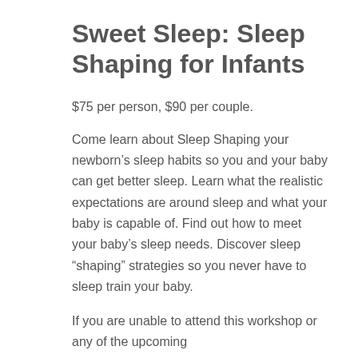Sweet Sleep: Sleep Shaping for Infants
$75 per person, $90 per couple.
Come learn about Sleep Shaping your newborn’s sleep habits so you and your baby can get better sleep. Learn what the realistic expectations are around sleep and what your baby is capable of. Find out how to meet your baby’s sleep needs. Discover sleep “shaping” strategies so you never have to sleep train your baby.
If you are unable to attend this workshop or any of the upcoming